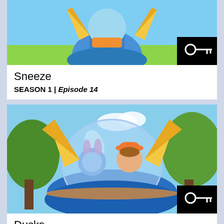[Figure (screenshot): Animated children's show still — blue cartoon character with yellow and blue wings/suit against a sky background with key/lock badge in bottom right corner]
Sneeze
SEASON 1 | Episode 14
[Figure (screenshot): Animated children's show still — boy with orange hat and blue animal companion inside a clear bubble/pod vehicle with butterfly wings, green trees in background, key/lock badge in bottom right corner]
Ducks
SEASON 1 | Episode 15